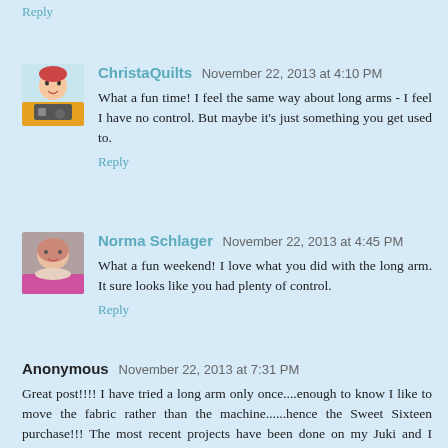Reply
ChristaQuilts  November 22, 2013 at 4:10 PM
What a fun time! I feel the same way about long arms - I feel I have no control. But maybe it's just something you get used to.
Reply
Norma Schlager  November 22, 2013 at 4:45 PM
What a fun weekend! I love what you did with the long arm. It sure looks like you had plenty of control.
Reply
Anonymous  November 22, 2013 at 7:31 PM
Great post!!!! I have tried a long arm only once....enough to know I like to move the fabric rather than the machine......hence the Sweet Sixteen purchase!!! The most recent projects have been done on my Juki and I didn't realize how much I missed FMQ on